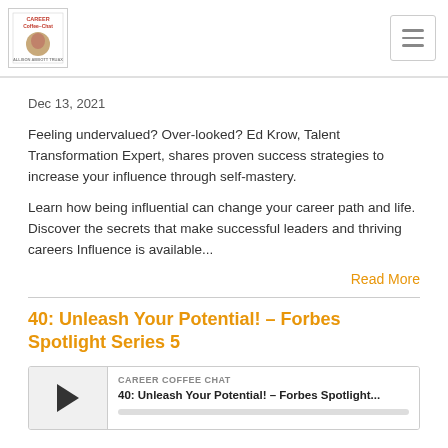Career Coffee Chat
Dec 13, 2021
Feeling undervalued? Over-looked? Ed Krow, Talent Transformation Expert, shares proven success strategies to increase your influence through self-mastery.
Learn how being influential can change your career path and life. Discover the secrets that make successful leaders and thriving careers Influence is available...
Read More
40: Unleash Your Potential! – Forbes Spotlight Series 5
[Figure (other): Audio player widget showing Career Coffee Chat podcast episode: 40: Unleash Your Potential! – Forbes Spotlight... with play button and progress bar]